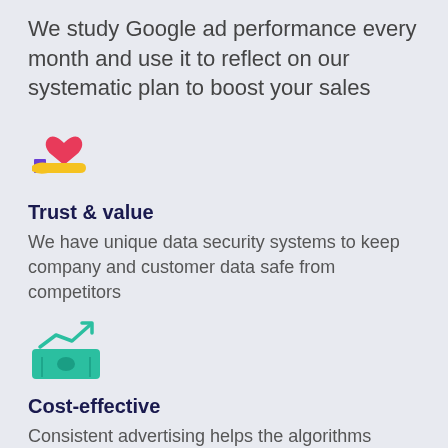We study Google ad performance every month and use it to reflect on our systematic plan to boost your sales
[Figure (illustration): Hand holding a heart icon — representing trust and value]
Trust & value
We have unique data security systems to keep company and customer data safe from competitors
[Figure (illustration): Money/bill with upward trending arrow icon — representing cost-effectiveness]
Cost-effective
Consistent advertising helps the algorithms target the right people making it cost-effective in the long run